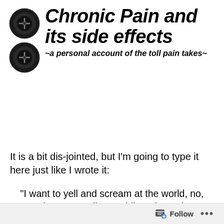Chronic Pain and its side effects
~a personal account of the toll pain takes~
It is a bit dis-jointed, but I’m going to type it here just like I wrote it:
“I want to yell and scream at the world, no, at the ever-ending, swirling, devouring Pain. The Pain that not only claws at me day and night but the equally absorbing exhaustion that pulls at my legs as if I had two ball and chains dragging around behind me: that weighs down my
Follow ...